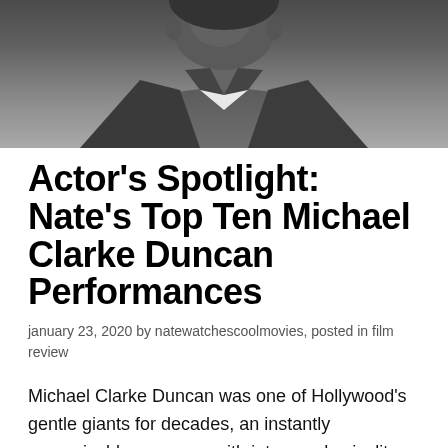[Figure (photo): Black and white photo of Michael Clarke Duncan, showing his face and upper body in a suit jacket]
Actor's Spotlight: Nate's Top Ten Michael Clarke Duncan Performances
january 23, 2020 by natewatchescoolmovies, posted in film review
Michael Clarke Duncan was one of Hollywood's gentle giants for decades, an instantly recognizable presence with intense physicality and a deep baritone voice full of expression. One might think that he'd get cast in a lot of tough guy villain roles but his career path found him often lending talent to comedic characters and lighthearted fare. That's not to say he couldn't embody